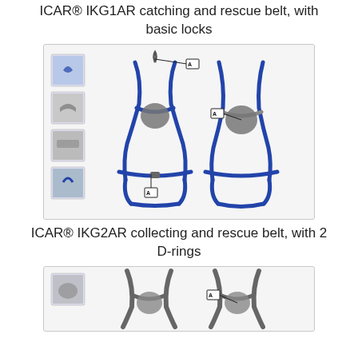ICAR® IKG1AR catching and rescue belt, with basic locks
[Figure (illustration): ICAR® IKG1AR collecting and rescue harness with basic locks, shown from two angles with thumbnail detail images and label A indicating lock points]
ICAR® IKG2AR collecting and rescue belt, with 2 D-rings
[Figure (illustration): ICAR® IKG2AR collecting and rescue belt with 2 D-rings, shown with thumbnail detail and label A indicating D-ring]